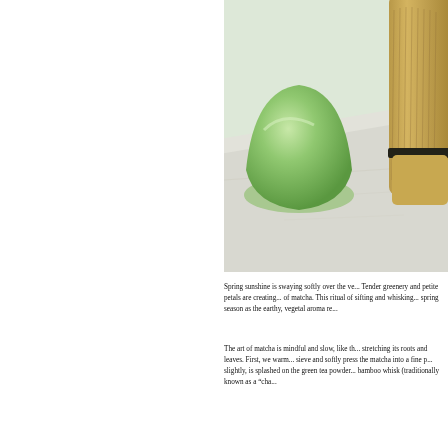[Figure (photo): Photo of a green matcha bowl and bamboo whisk (chasen) on a white marble surface. The matcha bowl is light green/jade colored with a rounded shape. The bamboo whisk appears golden-brown with fine tines. The background is light and airy.]
Spring sunshine is swaying softly over the ve... Tender greenery and petite petals are creating... of matcha. This ritual of sifting and whisking... spring season as the earthy, vegetal aroma re...
The art of matcha is mindful and slow, like th... stretching its roots and leaves. First, we warm... sieve and softly press the matcha into a fine p... slightly, is splashed on the green tea powder... bamboo whisk (traditionally known as a "cha...